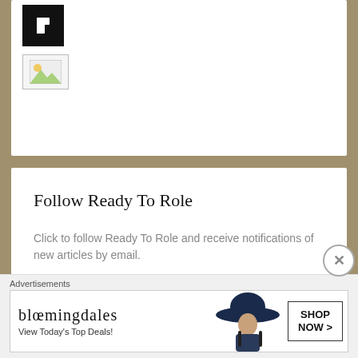[Figure (logo): Black square logo with white letter P icon]
[Figure (photo): Small broken/placeholder image thumbnail]
Follow Ready To Role
Click to follow Ready To Role and receive notifications of new articles by email.
Email Address
Follow
Advertisements
[Figure (screenshot): Bloomingdales advertisement banner: 'bloomingdales View Today's Top Deals! SHOP NOW >' with woman in hat]